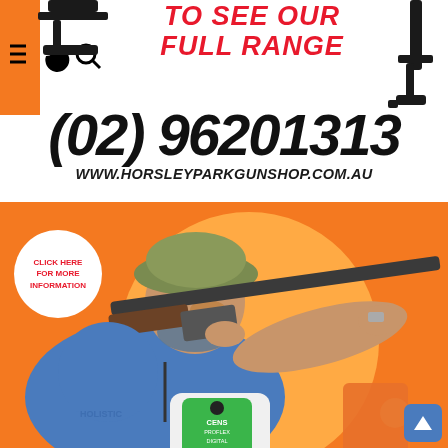TO SEE OUR FULL RANGE
(02) 96201313
WWW.HORSLEYPARKGUNSHOP.COM.AU
[Figure (photo): Promotional advertisement for Horsley Park Gun Shop showing a man in camouflage cap and blue shirt aiming a shotgun, with a CENS hearing protection device visible, on an orange background with a white circle badge saying CLICK HERE FOR MORE INFORMATION]